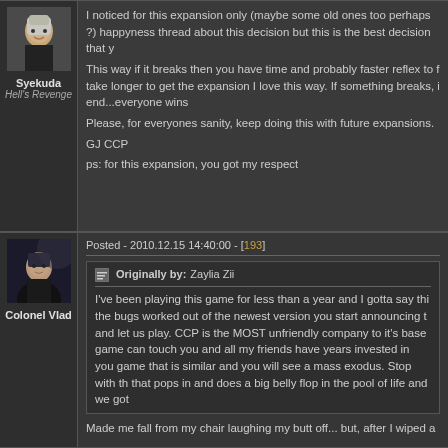[Figure (photo): Avatar of user Syekuda - female character with light hair]
Syekuda
Hell's Revenge
I noticed for this expansion only (maybe some old ones too perhaps ?) happyness thread about this decision but this is the best decision that y

This way if it breaks then you have time and probably faster reflex to f take longer to get the expansion I love this way. If something breaks, i end...everyone wins

Please, for everyones sanity, keep doing this with future expansions.

GJ CCP

ps: for this expansion, you got my respect
Posted - 2010.12.15 14:40:00 - [193]
[Figure (photo): Avatar of user Colonel Vlad - male character in dark clothing]
Colonel Vlad
Originally by: Zaylia Zii
I've been playing this game for less than a year and I gotta say thi the bugs worked out of the newest version you start announcing t and let us play. CCP is the MOST unfriendly company to it's base game can touch you and all my friends have years invested in you game that is similar and you will see a mass exodus. Stop with th that pops in and does a big belly flop in the pool of life and we got
Made me fall from my chair laughing my butt off... but, after I wiped a
Posted - 2010.12.15 14:40:00 - [194]
[Figure (photo): Avatar of third user - partially visible at bottom]